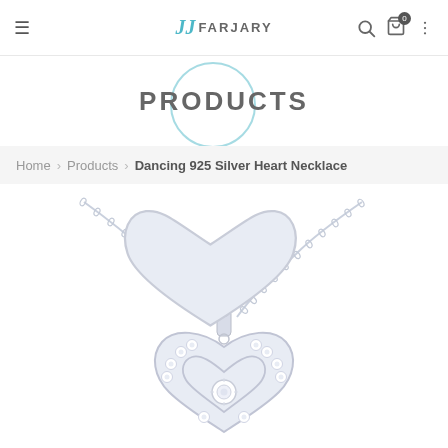FARJARY
PRODUCTS
Home > Products > Dancing 925 Silver Heart Necklace
[Figure (photo): Dancing 925 Silver Heart Necklace product photo — a silver chain necklace with a heart-shaped pendant featuring a double heart design studded with cubic zirconia crystals and a floating stone in the center, on white background.]